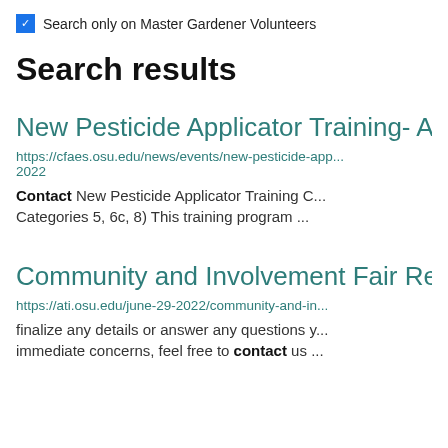☑ Search only on Master Gardener Volunteers
Search results
New Pesticide Applicator Training- A...
https://cfaes.osu.edu/news/events/new-pesticide-app... 2022
Contact New Pesticide Applicator Training C... Categories 5, 6c, 8) This training program ...
Community and Involvement Fair Re...
https://ati.osu.edu/june-29-2022/community-and-in... finalize any details or answer any questions y... immediate concerns, feel free to contact us ...